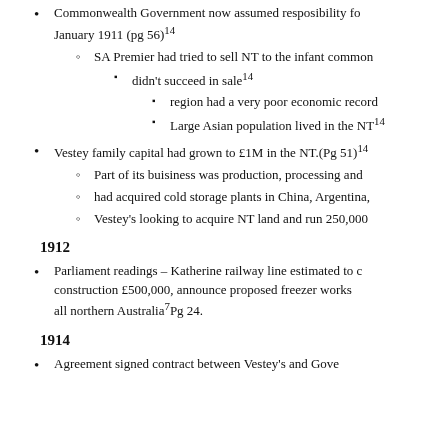Commonwealth Government now assumed resposibility fo... January 1911 (pg 56)^14
SA Premier had tried to sell NT to the infant common...
didn't succeed in sale^14
region had a very poor economic record...
Large Asian population lived in the NT^14
Vestey family capital had grown to £1M in the NT.(Pg 51)^14
Part of its buisiness was production, processing and...
had acquired cold storage plants in China, Argentina,...
Vestey's looking to acquire NT land and run 250,000...
1912
Parliament readings – Katherine railway line estimated to c... construction £500,000, announce proposed freezer works... all northern Australia^7Pg 24.
1914
Agreement signed contract between Vestey's and Gove...